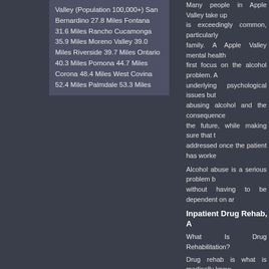Valley (Population 100,000+) San Bernardino 27.8 Miles Fontana 31.6 Miles Rancho Cucamonga 35.9 Miles Moreno Valley 39.0 Miles Riverside 39.7 Miles Ontario 40.3 Miles Pomona 44.7 Miles Corona 48.4 Miles West Covina 52.4 Miles Palmdale 53.3 Miles
Many people in Apple Valley take up... is exceedingly common, particularly... family. A Apple Valley mental health... first focus on the alcohol problem. A... underlying psychological issues but... abusing alcohol and the consequence... the future, while making sure that t... addressed once the patient has worke...
Alcohol abuse is a serious problem b... without having to be dependent on ar...
Inpatient Drug Rehab, A...
What Is Drug Rehabilitation?
Drug rehab is what is medically know... or could be considered drug addicted... needs to be undertaken after another... of drugs and depending on the deg... prescription drugs Vicodin and Perco... even mentioning much harder opiate... a certain amount of drugs so that the... patient any ailments. Some are als... psychological, physiological and soc... drug use. When a persons use of dr... Valley, California drug rehab facility. C... support as often as possible. When a... the use of the drug or is constantly... inpatient drug rehab facility in Apple V...
What are the types of Drug Rehab?
Drug rehabilitation is a complex iss... elements attached to it. There are... approach a drug addiction or drug de...
What Is Outpatient Rehab?